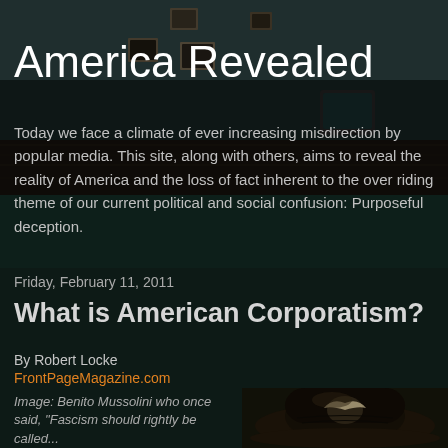[Figure (photo): Dark moody interior room with framed pictures on wall, vintage television, wooden floor — used as hero background image]
America Revealed
Today we face a climate of ever increasing misdirection by popular media. This site, along with others, aims to reveal the reality of America and the loss of fact inherent to the over riding theme of our current political and social confusion: Purposeful deception.
Friday, February 11, 2011
What is American Corporatism?
By Robert Locke
FrontPageMagazine.com
Image: Benito Mussolini who once said, "Fascism should rightly be called...
[Figure (photo): Close-up photo of a dark military hat with eagle insignia, likely fascist/Nazi era]